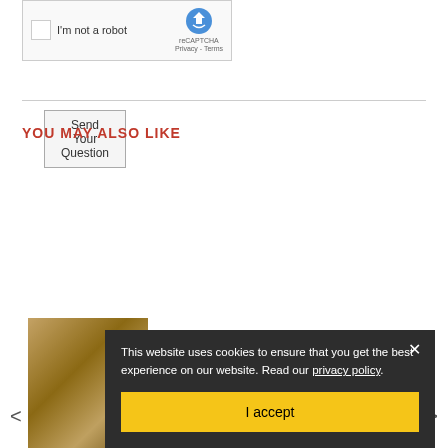[Figure (screenshot): reCAPTCHA widget with checkbox labeled 'I'm not a robot' and reCAPTCHA logo with Privacy - Terms text]
[Figure (screenshot): Button labeled 'Send Your Question']
YOU MAY ALSO LIKE
This website uses cookies to ensure that you get the best experience on our website. Read our privacy policy.
[Figure (screenshot): I accept button (yellow) for cookie consent overlay with X close button]